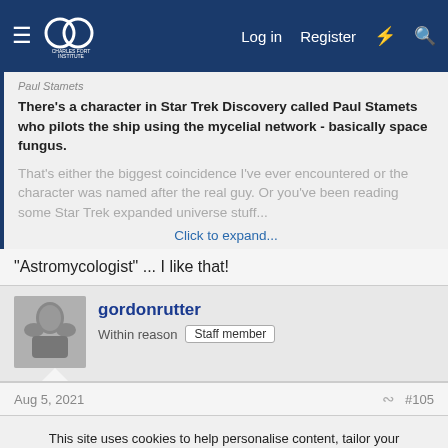Charles Fort Institute — Log in | Register
There's a character in Star Trek Discovery called Paul Stamets who pilots the ship using the mycelial network - basically space fungus.
That's either the biggest coincidence I've ever encountered or the character was named after the real guy. Or you've been reading some Star Trek expanded universe stuff...
Click to expand...
"Astromycologist" ... I like that!
gordonrutter
Within reason   Staff member
Aug 5, 2021   #105
This site uses cookies to help personalise content, tailor your experience and to keep you logged in if you register.
By continuing to use this site, you are consenting to our use of cookies.